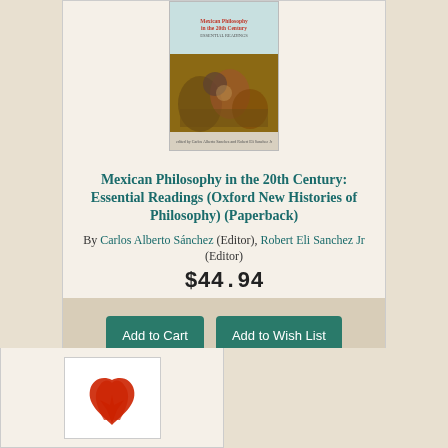[Figure (photo): Book cover of Mexican Philosophy in the 20th Century: Essential Readings]
Mexican Philosophy in the 20th Century: Essential Readings (Oxford New Histories of Philosophy) (Paperback)
By Carlos Alberto Sánchez (Editor), Robert Eli Sanchez Jr (Editor)
$44.94
Add to Cart
Add to Wish List
Comes From Our Warehouse - Usually Ships in 3-10 Days
(This book cannot be returned.)
[Figure (logo): Red flame/bird logo on white book cover background]